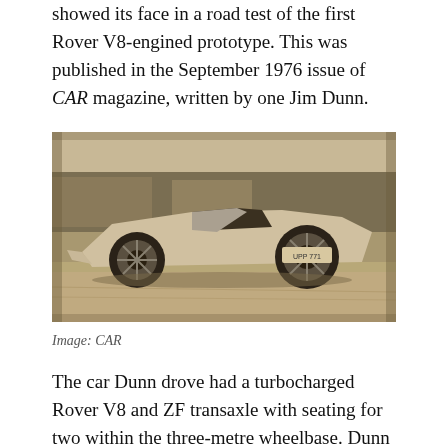showed its face in a road test of the first Rover V8-engined prototype. This was published in the September 1976 issue of CAR magazine, written by one Jim Dunn.
[Figure (photo): Sepia-toned black and white photograph of a low-slung sports car prototype (Rover V8-engined) on a road or rough terrain, taken from a low angle. The car appears to be in motion. Trees visible in the background.]
Image: CAR
The car Dunn drove had a turbocharged Rover V8 and ZF transaxle with seating for two within the three-metre wheelbase. Dunn praised the turbocharged Rover-engined prototype's